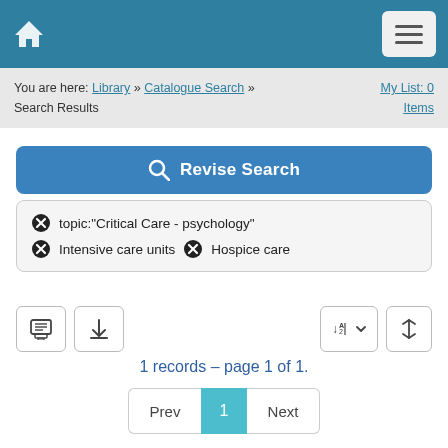[Figure (screenshot): Top navigation bar with home icon and hamburger menu button on teal background]
You are here: Library » Catalogue Search » Search Results    My List: 0 Items
[Figure (screenshot): Blue Revise Search button with magnifying glass icon]
topic:"Critical Care - psychology"  Intensive care units  Hospice care
[Figure (screenshot): Toolbar with print, download, sort and column buttons]
1 records – page 1 of 1.
[Figure (screenshot): Pagination controls: Prev, 1 (active), Next]